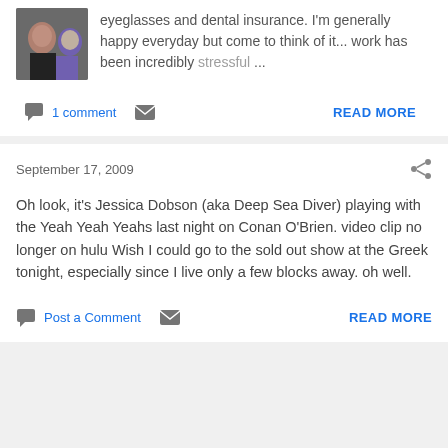[Figure (photo): A cropped photo of two people posing together, one in a black shirt and one in a purple top.]
eyeglasses and dental insurance. I'm generally happy everyday but come to think of it... work has been incredibly stressful ...
1 comment
READ MORE
September 17, 2009
Oh look, it's Jessica Dobson (aka Deep Sea Diver) playing with the Yeah Yeah Yeahs last night on Conan O'Brien. video clip no longer on hulu Wish I could go to the sold out show at the Greek tonight, especially since I live only a few blocks away. oh well.
Post a Comment
READ MORE